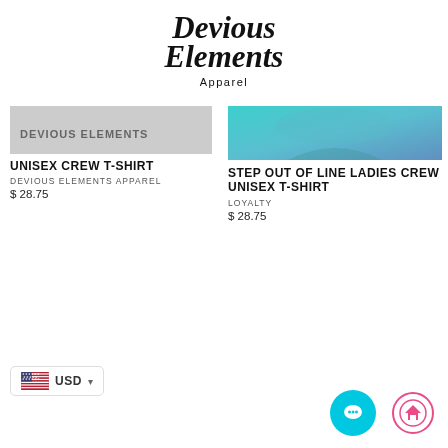[Figure (logo): Devious Elements Apparel logo in decorative black script font]
[Figure (photo): Partial product image of Devious Elements Crew Unisex T-Shirt (cropped/cut off at top)]
UNISEX CREW T-SHIRT
DEVIOUS ELEMENTS APPAREL
$ 28.75
[Figure (photo): Product image of Step Out of Line Ladies Crew Unisex T-Shirt showing teal/blue graphic design]
STEP OUT OF LINE LADIES CREW UNISEX T-SHIRT
LOYALTY
$ 28.75
USD
[Figure (illustration): Chat support button (teal circle with speech bubble icon)]
[Figure (illustration): Scroll to top button (pink-bordered circle with house/up arrow icon)]